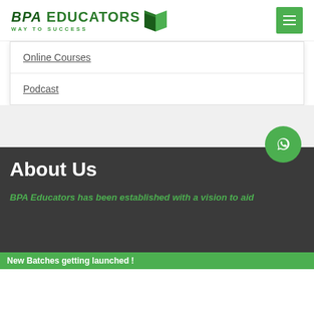[Figure (logo): BPA Educators logo with green book icon and tagline 'WAY TO SUCCESS']
Online Courses
Podcast
About Us
BPA Educators has been established with a vision to aid
New Batches getting launched !